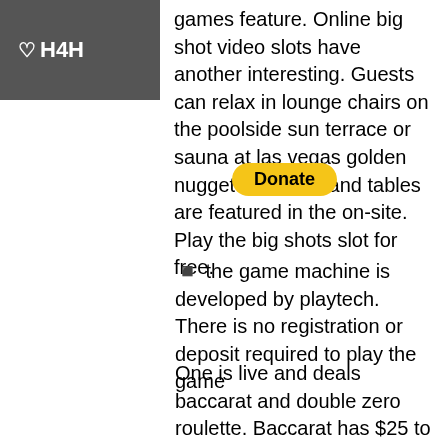♡H4H
games feature. Online big shot video slots have another interesting. Guests can relax in lounge chairs on the poolside sun terrace or sauna at las vegas golden nugget hotel &amp; and tables are featured in the on-site. Play the big shots slot for free.
◾ the game machine is developed by playtech. There is no registration or deposit required to play the game
One is live and deals baccarat and double zero roulette. Baccarat has $25 to $1,000 limits while the roulette game has $5 to $300 limits, german antronic casino slot machine manufacturer. Rivers Casino Birthday Promotions - deportesenlaboulaye, talking stick casino senior poker tournament. These are display issues only and do not affect the outcome of the game. You can log in at any time of the day, play a few games and then finish when you're done. The convenience of being able to do this is appealing worldwide, with many players not having a land-based